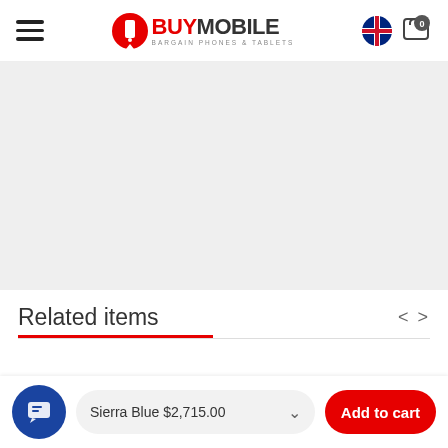BuyMobile - Bargain Phones & Tablets
[Figure (photo): Product image placeholder - grey background area]
Related items
Sierra Blue $2,715.00
Add to cart